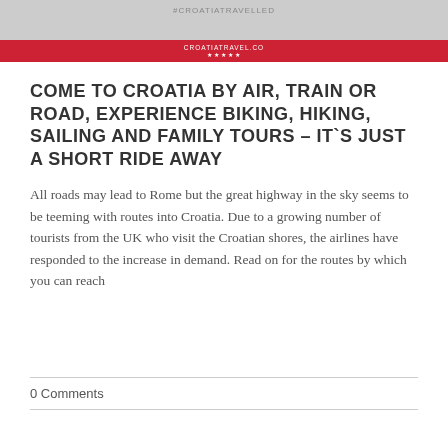[Figure (other): Website header banner with gray background showing hashtag #CROATIATRAVELLED text and a red bar below with site name and star rating]
COME TO CROATIA BY AIR, TRAIN OR ROAD, EXPERIENCE BIKING, HIKING, SAILING AND FAMILY TOURS – IT`S JUST A SHORT RIDE AWAY
All roads may lead to Rome but the great highway in the sky seems to be teeming with routes into Croatia. Due to a growing number of tourists from the UK who visit the Croatian shores, the airlines have responded to the increase in demand. Read on for the routes by which you can reach
0 Comments